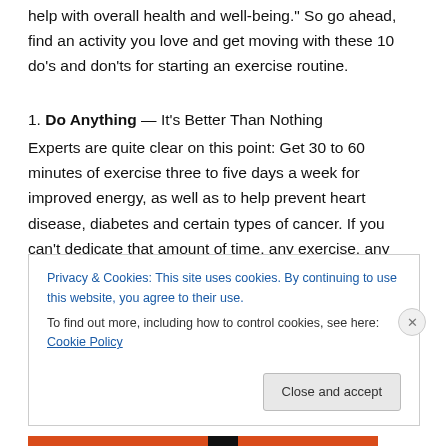help with overall health and well-being." So go ahead, find an activity you love and get moving with these 10 do's and don'ts for starting an exercise routine.
1. Do Anything — It's Better Than Nothing
Experts are quite clear on this point: Get 30 to 60 minutes of exercise three to five days a week for improved energy, as well as to help prevent heart disease, diabetes and certain types of cancer. If you can't dedicate that amount of time, any exercise, any movement for any amount of time is better than nothing.
Privacy & Cookies: This site uses cookies. By continuing to use this website, you agree to their use.
To find out more, including how to control cookies, see here: Cookie Policy
Close and accept